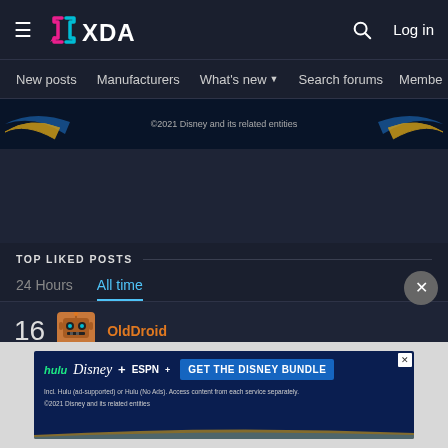XDA Forums navigation header with logo, search and Log in
New posts | Manufacturers | What's new | Search forums | Membe >
[Figure (other): Disney+ advertisement banner with swoosh graphics and copyright text: ©2021 Disney and its related entities]
TOP LIKED POSTS
24 Hours   All time
16  OldDroid
[Figure (other): Disney bundle advertisement: hulu Disney+ ESPN+ GET THE DISNEY BUNDLE. Incl. Hulu (ad-supported) or Hulu (No Ads). Access content from each service separately. ©2021 Disney and its related entities]